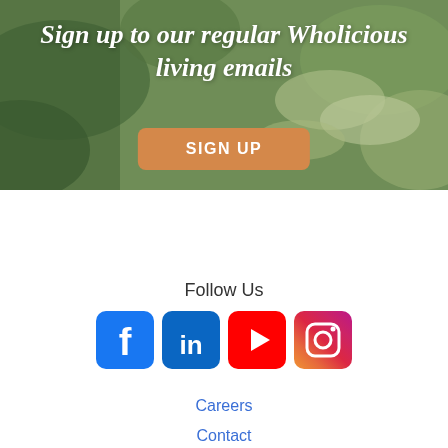[Figure (photo): Hero banner with blurred green plant/grass background and overlay text and sign up button]
Sign up to our regular Wholicious living emails
SIGN UP
Follow Us
[Figure (infographic): Row of social media icons: Facebook, LinkedIn, YouTube, Instagram]
Careers
Contact
Privacy